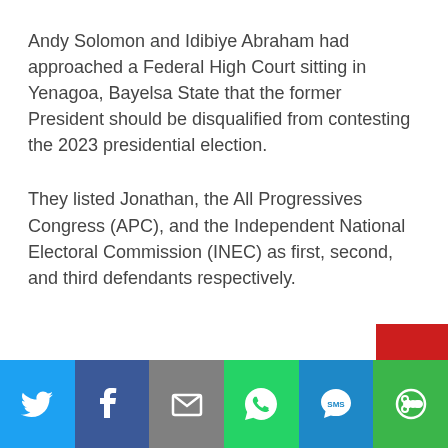Andy Solomon and Idibiye Abraham had approached a Federal High Court sitting in Yenagoa, Bayelsa State that the former President should be disqualified from contesting the 2023 presidential election.
They listed Jonathan, the All Progressives Congress (APC), and the Independent National Electoral Commission (INEC) as first, second, and third defendants respectively.
[Figure (infographic): Social sharing bar with icons for Twitter, Facebook, Email, WhatsApp, SMS, and More]